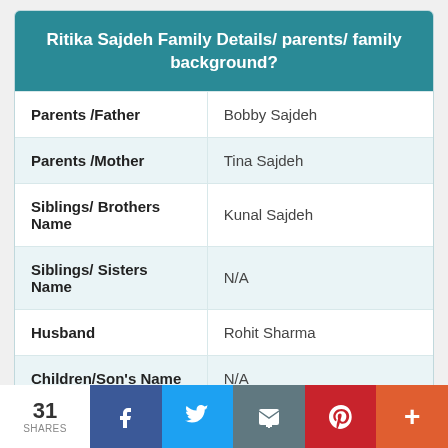Ritika Sajdeh Family Details/ parents/ family background?
|  |  |
| --- | --- |
| Parents /Father | Bobby Sajdeh |
| Parents /Mother | Tina Sajdeh |
| Siblings/ Brothers Name | Kunal Sajdeh |
| Siblings/ Sisters Name | N/A |
| Husband | Rohit Sharma |
| Children/Son's Name | N/A |
| Children/Daughter's Name | Samaira Sharma |
31 SHARES